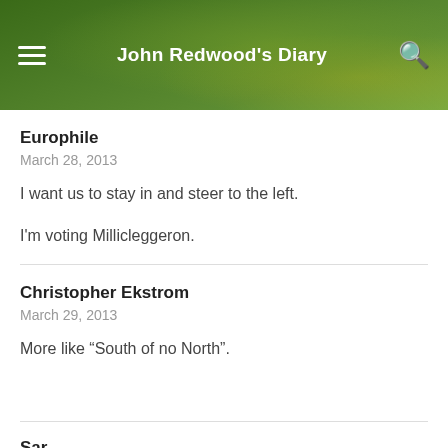John Redwood's Diary
Europhile
March 28, 2013
I want us to stay in and steer to the left.
I'm voting Millicleggeron.
Christopher Ekstrom
March 29, 2013
More like “South of no North”.
Sar...